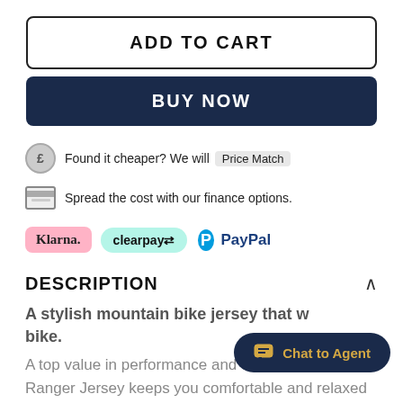ADD TO CART
BUY NOW
Found it cheaper? We will Price Match
Spread the cost with our finance options.
[Figure (logo): Klarna, Clearpay, and PayPal payment logos]
DESCRIPTION
A stylish mountain bike jersey that w bike.
A top value in performance and comfort, the Youth Ranger Jersey keeps you comfortable and relaxed on the trail by
[Figure (other): Chat to Agent button overlay]